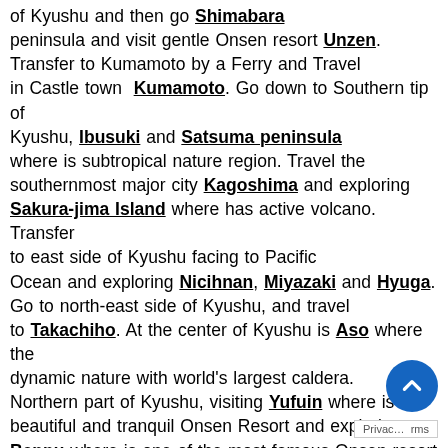of Kyushu and then go Shimabara peninsula and visit gentle Onsen resort Unzen. Transfer to Kumamoto by a Ferry and Travel in Castle town Kumamoto. Go down to Southern tip of Kyushu, Ibusuki and Satsuma peninsula where is subtropical nature region. Travel the southernmost major city Kagoshima and exploring Sakura-jima Island where has active volcano. Transfer to east side of Kyushu facing to Pacific Ocean and exploring Nicihnan, Miyazaki and Hyuga. Go to north-east side of Kyushu, and travel to Takachiho. At the center of Kyushu is Aso where the dynamic nature with world's largest caldera. Northern part of Kyushu, visiting Yufuin where is a beautiful and tranquil Onsen Resort and exploring Beppu where is one of the most famous Onsen resort in Japan and the yield hot spring volume is No.1 in Japan. Journey in Northern tip of Kyushu, Kitakyushu where is the Industrial Innovation city contributed to Japan's Industrial modernization. Final destination is Fukuoka where is heart of Kyushu, enjoy shopping and sightseeing.